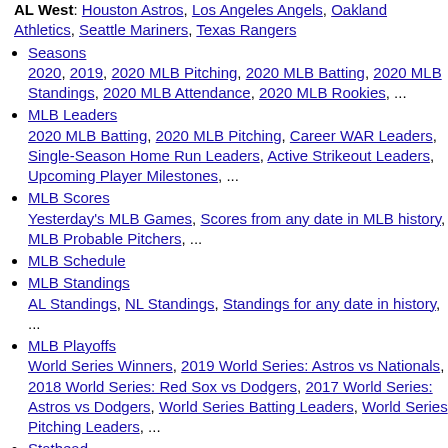AL West: Houston Astros, Los Angeles Angels, Oakland Athletics, Seattle Mariners, Texas Rangers
Seasons
2020, 2019, 2020 MLB Pitching, 2020 MLB Batting, 2020 MLB Standings, 2020 MLB Attendance, 2020 MLB Rookies, ...
MLB Leaders
2020 MLB Batting, 2020 MLB Pitching, Career WAR Leaders, Single-Season Home Run Leaders, Active Strikeout Leaders, Upcoming Player Milestones, ...
MLB Scores
Yesterday's MLB Games, Scores from any date in MLB history, MLB Probable Pitchers, ...
MLB Schedule
MLB Standings
AL Standings, NL Standings, Standings for any date in history, ...
MLB Playoffs
World Series Winners, 2019 World Series: Astros vs Nationals, 2018 World Series: Red Sox vs Dodgers, 2017 World Series: Astros vs Dodgers, World Series Batting Leaders, World Series Pitching Leaders, ...
Stathead
Player Finders: Season & Career Finder, Game Finder, Streak Finder, Event Finder, Player Comparison Finder, ...